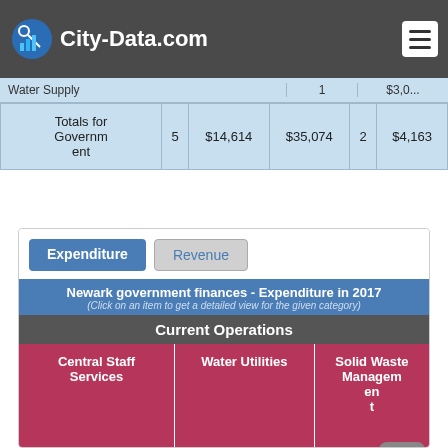City-Data.com
|  |  |  |  |  |  |
| --- | --- | --- | --- | --- | --- |
| Water Supply (partial) |  |  | 1 | $3,0... |  |
| Totals for Government | 5 | $14,614 | $35,074 | 2 | $4,163 |
Expenditure | Revenue
Newark government finances - Expenditure in 2017
(Click on an item to get a detailed view for the given category)
Current Operations
[Figure (infographic): Treemap showing Newark government expenditure categories: Central Staff Services, Water Utilities, Solid Waste Management, General - Other, Judicial and Legal, Police]